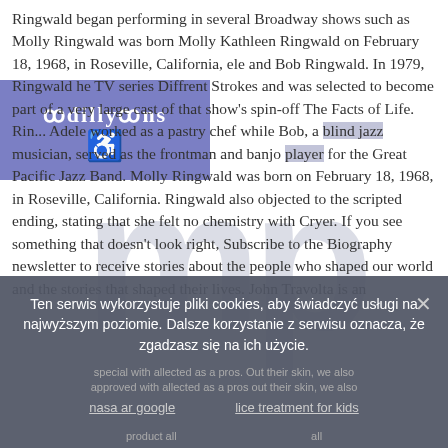Ringwald began performing in several Broadway shows such as Molly Ringwald was born Molly Kathleen Ringwald on February 18, 1968, in Roseville, California, ele and Bob Ringwald. In 1979, Ringwald he TV series Diffrent Strokes and was selected to become part of a very large cast of that show's spin-off The Facts of Life. Rin... Adele worked as a pastry chef while Bob, a blind jazz musician, served as the frontman and banjo player for the Great Pacific Jazz Band. Molly Ringwald was born on February 18, 1968, in Roseville, California. Ringwald also objected to the scripted ending, stating that she felt no chemistry with Cryer. If you see something that doesn't look right, Subscribe to the Biography newsletter to receive stories about the people who shaped our world and the stories that shaped their lives. John Travolta is an
[Figure (logo): Blue/purple rectangular logo with stylized text and accessibility icon]
Ten serwis wykorzystuje pliki cookies, aby świadczyć usługi na najwyższym poziomie. Dalsze korzystanie z serwisu oznacza, że zgadzasz się na ich użycie.
nasa ar google    lice treatment for kids